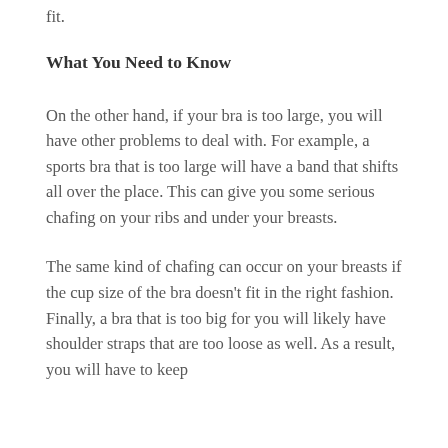fit.
What You Need to Know
On the other hand, if your bra is too large, you will have other problems to deal with. For example, a sports bra that is too large will have a band that shifts all over the place. This can give you some serious chafing on your ribs and under your breasts.
The same kind of chafing can occur on your breasts if the cup size of the bra doesn't fit in the right fashion. Finally, a bra that is too big for you will likely have shoulder straps that are too loose as well. As a result, you will have to keep